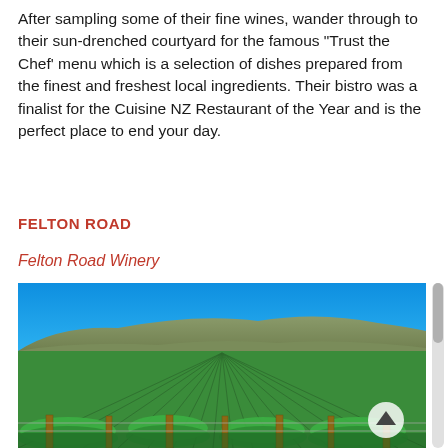After sampling some of their fine wines, wander through to their sun-drenched courtyard for the famous “Trust the Chef’ menu which is a selection of dishes prepared from the finest and freshest local ingredients. Their bistro was a finalist for the Cuisine NZ Restaurant of the Year and is the perfect place to end your day.
FELTON ROAD
Felton Road Winery
[Figure (photo): Aerial view of Felton Road Winery vineyard rows in green under a bright blue sky, with rolling hills in the background. Lush green grapevine rows run in perspective lines toward the hills.]